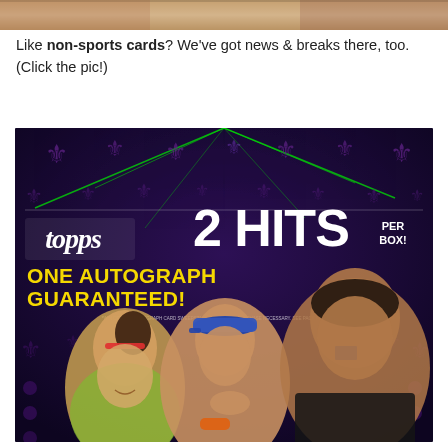[Figure (photo): Partial top image showing people, cropped at top of page]
Like non-sports cards? We've got news & breaks there, too. (Click the pic!)
[Figure (photo): Topps WWE trading card box advertisement showing three wrestlers (Bayley, John Cena, Andre the Giant) against a dark purple background with fleur-de-lis pattern. Text reads: 2 HITS PER BOX! ONE AUTOGRAPH GUARANTEED!]